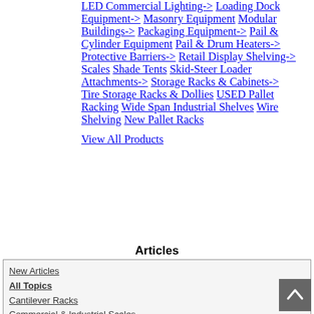LED Commercial Lighting->
Loading Dock Equipment->
Masonry Equipment
Modular Buildings->
Packaging Equipment->
Pail & Cylinder Equipment
Pail & Drum Heaters->
Protective Barriers->
Retail Display Shelving->
Scales
Shade Tents
Skid-Steer Loader Attachments->
Storage Racks & Cabinets->
Tire Storage Racks & Dollies
USED Pallet Racking
Wide Span Industrial Shelves
Wire Shelving
New Pallet Racks
View All Products
Articles
New Articles
All Topics
Cantilever Racks
Commercial & Industrial Scales
Discount Storage Racks
Dockboards